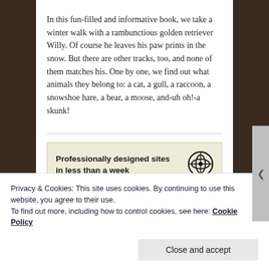In this fun-filled and informative book, we take a winter walk with a rambunctious golden retriever Willy. Of course he leaves his paw prints in the snow. But there are other tracks, too, and none of them matches his. One by one, we find out what animals they belong to: a cat, a gull, a raccoon, a snowshoe hare, a bear, a moose, and-uh oh!-a skunk!
[Figure (other): WordPress advertisement banner: 'Professionally designed sites in less than a week' with WordPress logo on the right side. Beige/cream background.]
Privacy & Cookies: This site uses cookies. By continuing to use this website, you agree to their use.
To find out more, including how to control cookies, see here: Cookie Policy